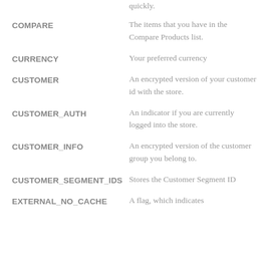quickly.
COMPARE — The items that you have in the Compare Products list.
CURRENCY — Your preferred currency
CUSTOMER — An encrypted version of your customer id with the store.
CUSTOMER_AUTH — An indicator if you are currently logged into the store.
CUSTOMER_INFO — An encrypted version of the customer group you belong to.
CUSTOMER_SEGMENT_IDS — Stores the Customer Segment ID
EXTERNAL_NO_CACHE — A flag, which indicates